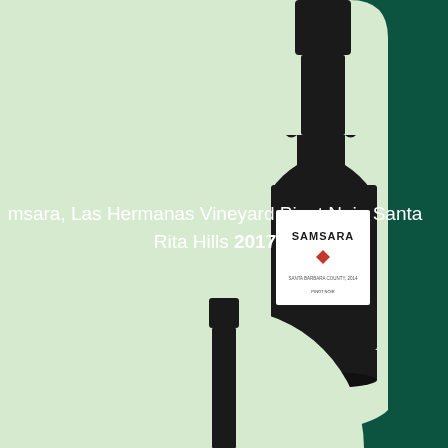[Figure (photo): A wine bottle with a white label reading SAMSARA with a red diamond logo, photographed against a light green arch-shaped background in the upper portion of the page]
Samsara, Las Hermanas Vineyard Pinot Noir, Santa Rita Hills 2017
[Figure (photo): Top portion of a dark green wine bottle neck and capsule, emerging from a light green circle at the bottom of the page against a dark green background]